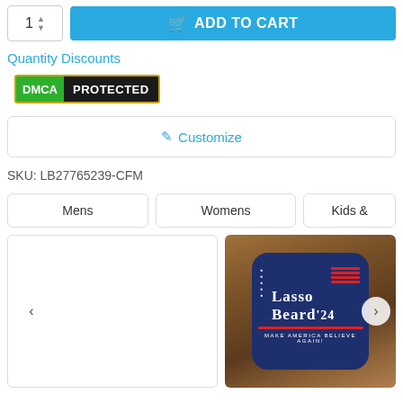[Figure (screenshot): Add to cart UI with quantity selector (showing 1 with up/down arrows) and blue ADD TO CART button with cart icon]
Quantity Discounts
[Figure (logo): DMCA PROTECTED badge with green DMCA text and black PROTECTED text, gold border]
✎ Customize
SKU: LB27765239-CFM
[Figure (screenshot): Navigation tabs: Mens, Womens, Kids &]
[Figure (photo): Gallery section: left panel empty with left arrow, right panel showing Lasso Beard 24 Make America Believe Again product on wood background with right arrow]